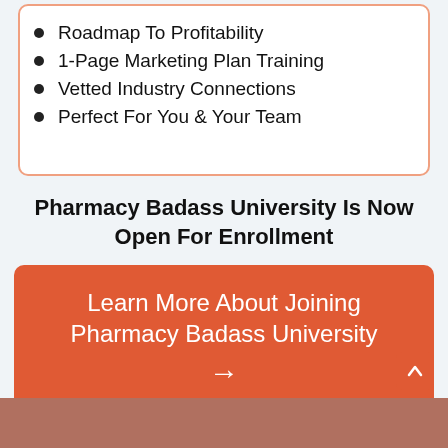Roadmap To Profitability
1-Page Marketing Plan Training
Vetted Industry Connections
Perfect For You & Your Team
Pharmacy Badass University Is Now Open For Enrollment
Learn More About Joining Pharmacy Badass University →